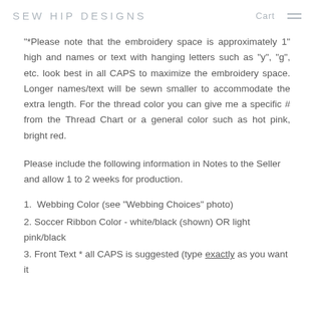SEW HIP DESIGNS   Cart ☰
"*Please note that the embroidery space is approximately 1" high and names or text with hanging letters such as "y", "g", etc. look best in all CAPS to maximize the embroidery space. Longer names/text will be sewn smaller to accommodate the extra length. For the thread color you can give me a specific # from the Thread Chart or a general color such as hot pink, bright red.
Please include the following information in Notes to the Seller and allow 1 to 2 weeks for production.
1.  Webbing Color (see "Webbing Choices" photo)
2. Soccer Ribbon Color - white/black (shown) OR light pink/black
3. Front Text * all CAPS is suggested (type exactly as you want it